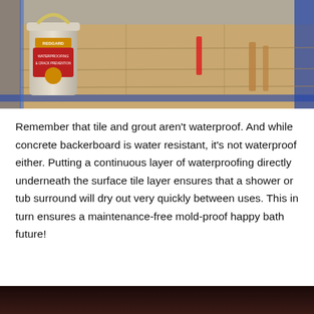[Figure (photo): Photo of a white bucket of RedGard waterproofing product sitting on a plywood subfloor in a bathroom shower area, with blue painter's tape along the edges and a red tool nearby.]
Remember that tile and grout aren't waterproof. And while concrete backerboard is water resistant, it's not waterproof either. Putting a continuous layer of waterproofing directly underneath the surface tile layer ensures that a shower or tub surround will dry out very quickly between uses. This in turn ensures a maintenance-free mold-proof happy bath future!
[Figure (photo): Partial photo at the bottom of the page showing a dark-toned bathroom or construction scene, cropped.]